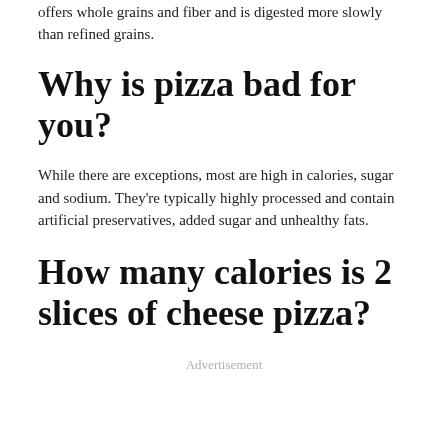offers whole grains and fiber and is digested more slowly than refined grains.
Why is pizza bad for you?
While there are exceptions, most are high in calories, sugar and sodium. They're typically highly processed and contain artificial preservatives, added sugar and unhealthy fats.
How many calories is 2 slices of cheese pizza?
Advertisement